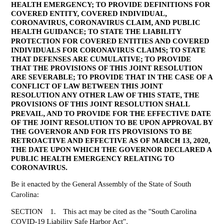HEALTH EMERGENCY; TO PROVIDE DEFINITIONS FOR COVERED ENTITY, COVERED INDIVIDUAL, CORONAVIRUS, CORONAVIRUS CLAIM, AND PUBLIC HEALTH GUIDANCE; TO STATE THE LIABILITY PROTECTION FOR COVERED ENTITIES AND COVERED INDIVIDUALS FOR CORONAVIRUS CLAIMS; TO STATE THAT DEFENSES ARE CUMULATIVE; TO PROVIDE THAT THE PROVISIONS OF THIS JOINT RESOLUTION ARE SEVERABLE; TO PROVIDE THAT IN THE CASE OF A CONFLICT OF LAW BETWEEN THIS JOINT RESOLUTION ANY OTHER LAW OF THIS STATE, THE PROVISIONS OF THIS JOINT RESOLUTION SHALL PREVAIL, AND TO PROVIDE FOR THE EFFECTIVE DATE OF THE JOINT RESOLUTION TO BE UPON APPROVAL BY THE GOVERNOR AND FOR ITS PROVISIONS TO BE RETROACTIVE AND EFFECTIVE AS OF MARCH 13, 2020, THE DATE UPON WHICH THE GOVERNOR DECLARED A PUBLIC HEALTH EMERGENCY RELATING TO CORONAVIRUS.
Be it enacted by the General Assembly of the State of South Carolina:
SECTION    1.    This act may be cited as the "South Carolina COVID-19 Liability Safe Harbor Act".